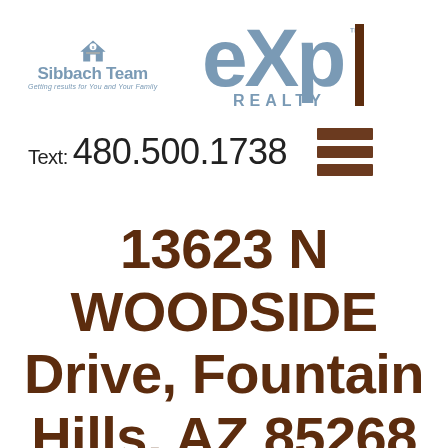[Figure (logo): Sibbach Team logo with house icon and tagline 'Getting results for You and Your Family']
[Figure (logo): eXp Realty logo in grey/blue]
Text: 480.500.1738
13623 N WOODSIDE Drive, Fountain Hills, AZ 85268 (MLS# 4851402)